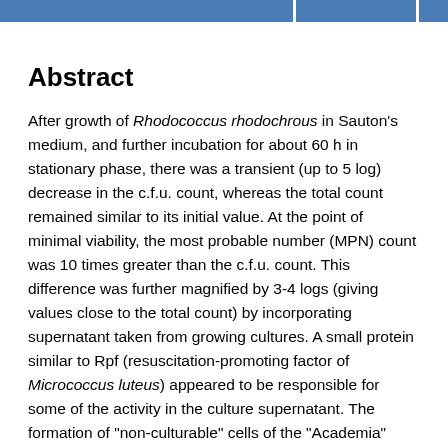Abstract
After growth of Rhodococcus rhodochrous in Sauton's medium, and further incubation for about 60 h in stationary phase, there was a transient (up to 5 log) decrease in the c.f.u. count, whereas the total count remained similar to its initial value. At the point of minimal viability, the most probable number (MPN) count was 10 times greater than the c.f.u. count. This difference was further magnified by 3-4 logs (giving values close to the total count) by incorporating supernatant taken from growing cultures. A small protein similar to Rpf (resuscitation-promoting factor of Micrococcus luteus) appeared to be responsible for some of the activity in the culture supernatant. The formation of "non-culturable" cells of the "Academia" strain of Mycobacterium tuberculosis was similarly observed following growth in